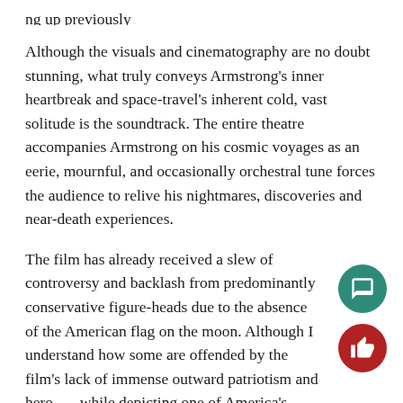Although the visuals and cinematography are no doubt stunning, what truly conveys Armstrong’s inner heartbreak and space-travel’s inherent cold, vast solitude is the soundtrack. The entire theatre accompanies Armstrong on his cosmic voyages as an eerie, mournful, and occasionally orchestral tune forces the audience to relive his nightmares, discoveries and near-death experiences.
The film has already received a slew of controversy and backlash from predominantly conservative figure-heads due to the absence of the American flag on the moon. Although I understand how some are offended by the film’s lack of immense outward patriotism and heroism while depicting one of America’s greatest triumphs, the film is much more than a testament to America’s grandiose or power.